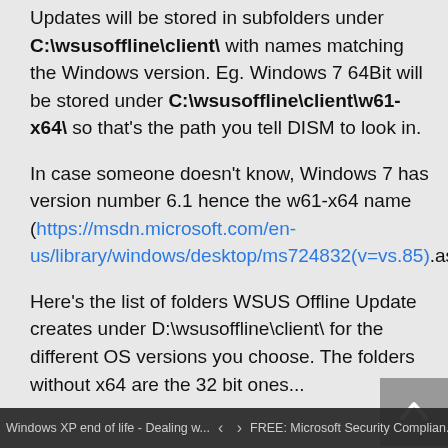Updates will be stored in subfolders under C:\wsusoffline\client\ with names matching the Windows version. Eg. Windows 7 64Bit will be stored under C:\wsusoffline\client\w61-x64\ so that's the path you tell DISM to look in.
In case someone doesn't know, Windows 7 has version number 6.1 hence the w61-x64 name (https://msdn.microsoft.com/en-us/library/windows/desktop/ms724832(v=vs.85).aspx)
Here's the list of folders WSUS Offline Update creates under D:\wsusoffline\client\ for the different OS versions you choose. The folders without x64 are the 32 bit ones...
Windows XP end of life - Dealing w... < > FREE: Microsoft Security Complian...